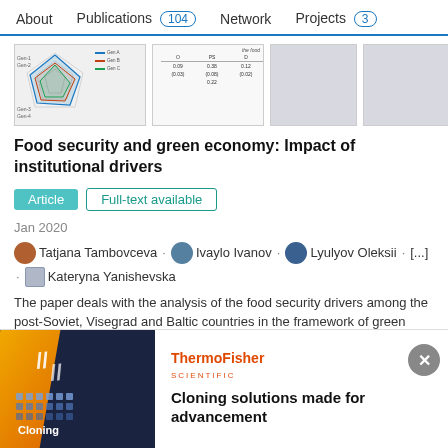About  Publications 104  Network  Projects 3
[Figure (screenshot): Thumbnail preview of article showing a radar/spider chart and a statistical table with columns O, PS, D and rows with values 0.09, 0.38, 0.12, (0.03), (0.08), (0.02), 0.22. Header says 'the food'. Three additional gray placeholder thumbnails to the right.]
Food security and green economy: Impact of institutional drivers
Article   Full-text available
Jan 2020
Tatjana Tambovceva · Ivaylo Ivanov · Lyulyov Oleksii · [...] · Kateryna Yanishevska
The paper deals with the analysis of the food security drivers among the post-Soviet, Visegrad and Baltic countries in the framework of green economy and sustainable development
Advertisement
[Figure (photo): Advertisement banner: ThermoFisher Scientific logo with dark blue background on left showing yellow diagonal stripe and cloning dot grid, and text 'Cloning solutions made for advancement']
Cloning solutions made for advancement